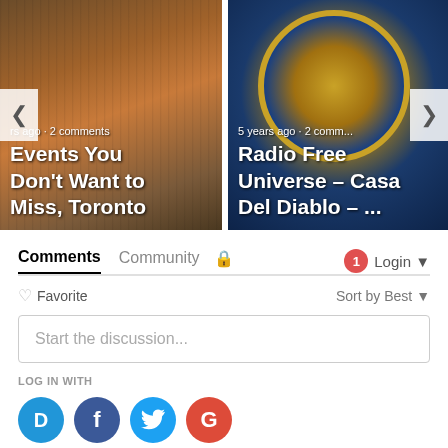[Figure (screenshot): Carousel showing two article cards: left card 'Events You Don't Want to Miss, Toronto' with clown image and '5 years ago · 2 comments', right card 'Radio Free Universe – Casa Del Diablo – ...' with badge/seal image and '5 years ago · 2 comm...']
Comments | Community | 🔒 | 1 | Login ▼
♡ Favorite | Sort by Best ▼
Start the discussion...
LOG IN WITH
[Figure (logo): Social login icons: Disqus (D), Facebook (f), Twitter bird, Google (G)]
OR SIGN UP WITH DISQUS ?